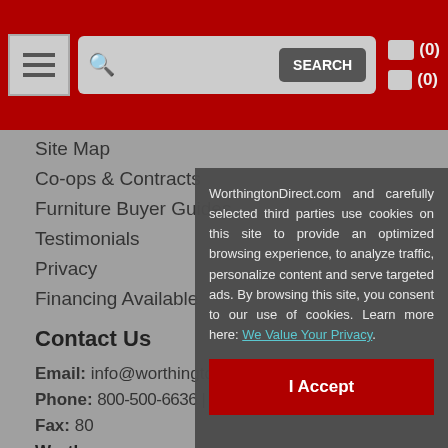Navigation header with menu, search bar, and cart icons (0) (0)
Site Map
Co-ops & Contracts
Furniture Buyer Guides
Testimonials
Privacy
Financing Available
Contact Us
Email: info@worthingtondirect.com
Phone: 800-500-6636 | 214-934-6000
Fax: 80...
WorthingtonDirect...
PO Bo...
6301 G...
Dallas,...
WorthingtonDirect.com and carefully selected third parties use cookies on this site to provide an optimized browsing experience, to analyze traffic, personalize content and serve targeted ads. By browsing this site, you consent to our use of cookies. Learn more here: We Value Your Privacy.
I Accept